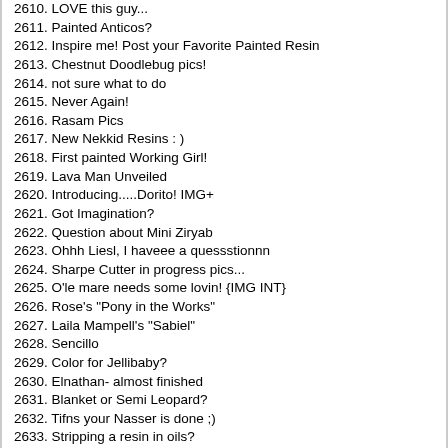2610. LOVE this guy...
2611. Painted Anticos?
2612. Inspire me! Post your Favorite Painted Resin
2613. Chestnut Doodlebug pics!
2614. not sure what to do
2615. Never Again!
2616. Rasam Pics
2617. New Nekkid Resins : )
2618. First painted Working Girl!
2619. Lava Man Unveiled
2620. Introducing.....Dorito! IMG+
2621. Got Imagination?
2622. Question about Mini Ziryab
2623. Ohhh Liesl, I haveee a quessstionnn
2624. Sharpe Cutter in progress pics...
2625. O'le mare needs some lovin! {IMG INT}
2626. Rose's "Pony in the Works"
2627. Laila Mampell's "Sabiel"
2628. Sencillo
2629. Color for Jellibaby?
2630. Elnathan- almost finished
2631. Blanket or Semi Leopard?
2632. Tifns your Nasser is done ;)
2633. Stripping a resin in oils?
2634. in progress Elnathan by Mindy Berg!
2635. Mother's Day Gift to ME!
2636. Two newly completed pieces
2637. Stablemate or LIttle bit sized?
2638. Painted Working Girls-post them here!
2639. YES!!